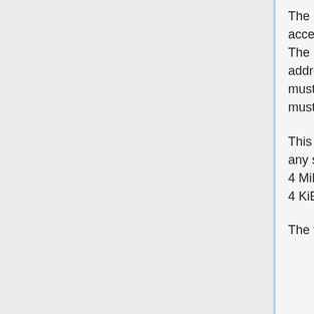The EC RAM, which contains the batterry/AC etc information is normally accessed by read commands on the EC index I/O ports (0x62 and 0x66). The EC will also respond to LPC memory read/write cycles in the address range 0xff000000 + 0x1000. In order for this to work, the chipset must pass MMIO accesses in this range to the LPC bridge, which in turn, must decode them to the LPC bus.
This can't work if there is something else using that address range, so any system with 16MiB is out of the question. Luckily, the 1035dx uses a 4 MiB chip, so that's a non-issue. As a bonus, the LPC bridge can map a 4 KiB MMIO window on the LPC bus (or two, I can't remember).
The following script enables the needed MMIO window: